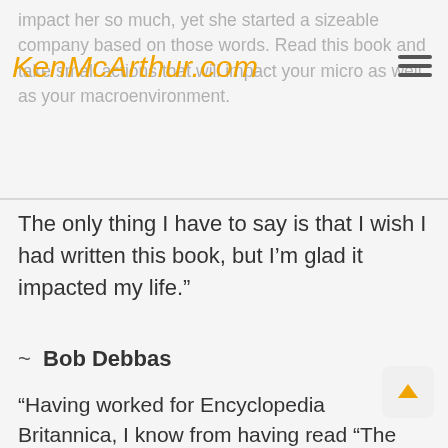impact her so much, yet she started a sizeable company based on those words. Read this book and take small actions that will impact your micro as well as your macroenvironment.
[Figure (logo): KenMcArthur.com logo in orange cursive/script font]
The only thing I have to say is that I wish I had written this book, but I’m glad it impacted my life.”
~ Bob Debbas
“Having worked for Encyclopedia Britannica, I know from having read “The Great Books” that a Great Book does not need an endorsement, and neither does Ken McArthur’s, “The Impact Factor”. So what’s my excuse for Highly Recommending this